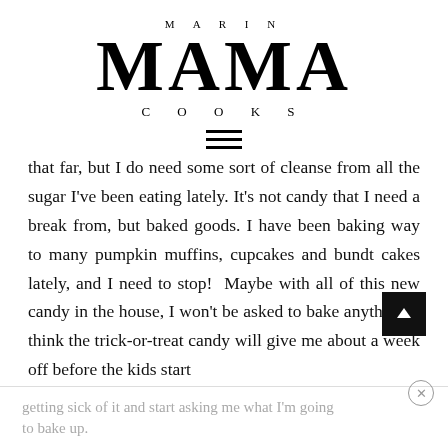MARIN MAMA COOKS
[Figure (other): Hamburger menu icon — three horizontal black lines]
that far, but I do need some sort of cleanse from all the sugar I've been eating lately. It's not candy that I need a break from, but baked goods. I have been baking way to many pumpkin muffins, cupcakes and bundt cakes lately, and I need to stop!  Maybe with all of this new candy in the house, I won't be asked to bake anything. I think the trick-or-treat candy will give me about a week off before the kids start getting sick of it and start asking me what I'm going to bake up.